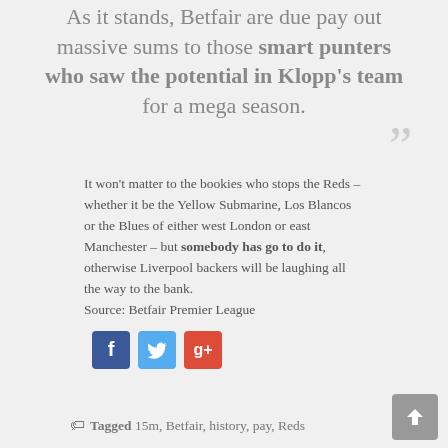As it stands, Betfair are due pay out massive sums to those smart punters who saw the potential in Klopp's team for a mega season.
It won't matter to the bookies who stops the Reds – whether it be the Yellow Submarine, Los Blancos or the Blues of either west London or east Manchester – but somebody has go to do it, otherwise Liverpool backers will be laughing all the way to the bank.
Source: Betfair Premier League
[Figure (other): Social sharing icons: Facebook, Twitter, Google+]
Tagged 15m, Betfair, history, pay, Reds